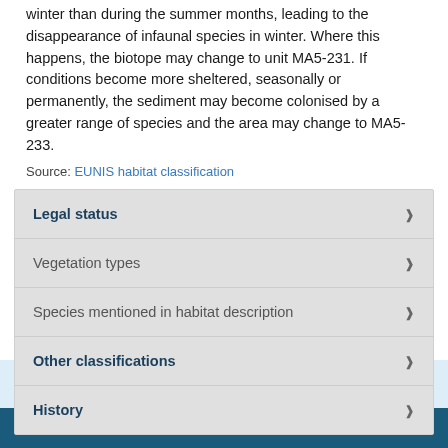winter than during the summer months, leading to the disappearance of infaunal species in winter. Where this happens, the biotope may change to unit MA5-231. If conditions become more sheltered, seasonally or permanently, the sediment may become colonised by a greater range of species and the area may change to MA5-233.
Source: EUNIS habitat classification
Legal status
Vegetation types
Species mentioned in habitat description
Other classifications
History